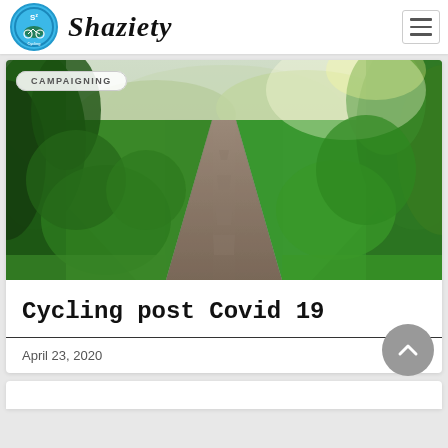Shaziety
CAMPAIGNING
[Figure (photo): A quiet rural road or cycling path flanked by lush green trees and vegetation on both sides, with sunlight filtering through.]
Cycling post Covid 19
April 23, 2020